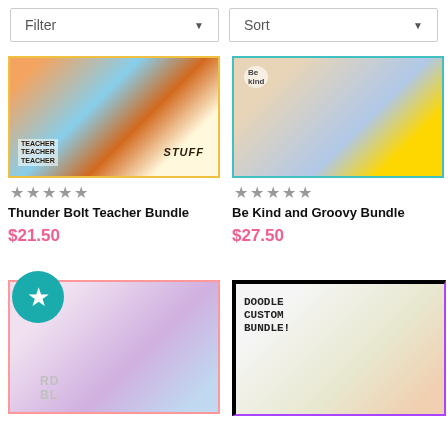Filter
Sort
[Figure (photo): Thunder Bolt Teacher Bundle product image showing teacher-themed items including a pouch labeled STUFF, stickers, and water bottles]
★★★★★
Thunder Bolt Teacher Bundle
$21.50
[Figure (photo): Be Kind and Groovy Bundle product image showing groovy-themed teacher items with leopard print and floral stickers]
★★★★★
Be Kind and Groovy Bundle
$27.50
[Figure (photo): Bottom left product image showing a woman wearing a purple cap with colorful text, featuring a teal star badge overlay]
[Figure (photo): Doodle Custom Bundle product image showing handwritten-style text reading DOODLE CUSTOM BUNDLE and a smiling woman]